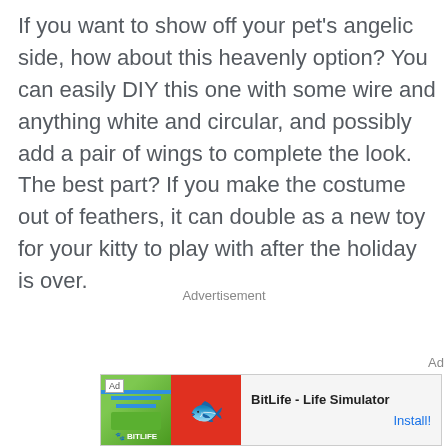If you want to show off your pet's angelic side, how about this heavenly option? You can easily DIY this one with some wire and anything white and circular, and possibly add a pair of wings to complete the look. The best part? If you make the costume out of feathers, it can double as a new toy for your kitty to play with after the holiday is over.
Advertisement
Ad
[Figure (screenshot): Mobile advertisement banner for BitLife - Life Simulator app showing app icon on red background with sperm graphic, green background section with BitLife logo text, and Install button link]